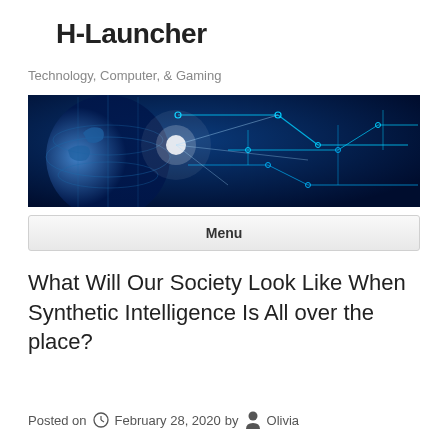H-Launcher
Technology, Computer, & Gaming
[Figure (illustration): Technology banner with glowing blue circuit board lines and globe on dark blue background]
Menu
What Will Our Society Look Like When Synthetic Intelligence Is All over the place?
Posted on February 28, 2020 by Olivia